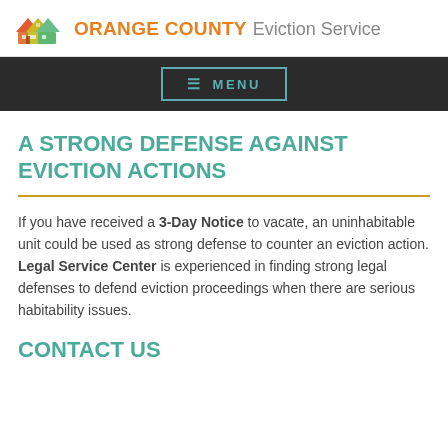ORANGE COUNTY Eviction Service
MENU
A STRONG DEFENSE AGAINST EVICTION ACTIONS
If you have received a 3-Day Notice to vacate, an uninhabitable unit could be used as strong defense to counter an eviction action. Legal Service Center is experienced in finding strong legal defenses to defend eviction proceedings when there are serious habitability issues.
CONTACT US